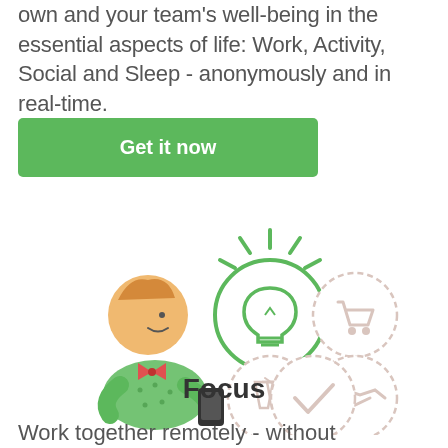own and your team's well-being in the essential aspects of life: Work, Activity, Social and Sleep - anonymously and in real-time.
[Figure (illustration): Green 'Get it now' button]
[Figure (illustration): Cartoon illustration of a person in green polka-dot shirt holding a phone, with a glowing green lightbulb circle icon and three faded dashed circles with icons (shopping cart, handshake, people toasting, checkmark)]
Focus
Work together remotely - without